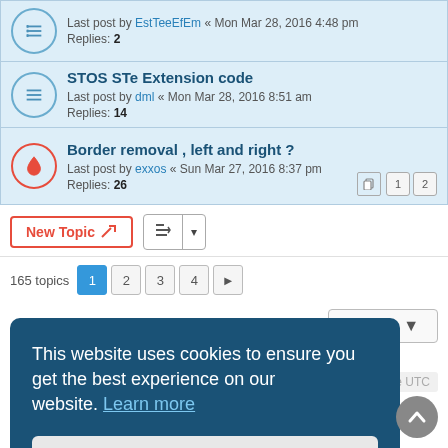Last post by EstTeeEfEm « Mon Mar 28, 2016 4:48 pm
Replies: 2
STOS STe Extension code
Last post by dml « Mon Mar 28, 2016 8:51 am
Replies: 14
Border removal , left and right ?
Last post by exxos « Sun Mar 27, 2016 8:37 pm
Replies: 26
New Topic | Sort | 165 topics | 1 2 3 4 >
Jump to
FORUM PERMISSIONS
This website uses cookies to ensure you get the best experience on our website. Learn more
Got it!
es are UTC